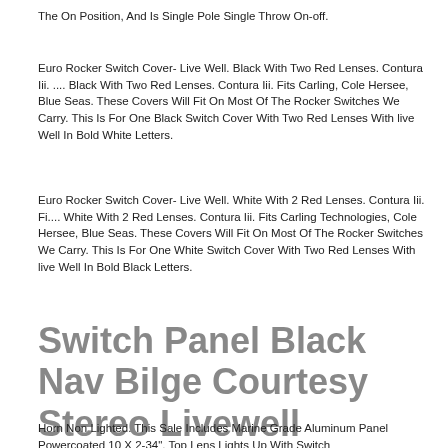The On Position, And Is Single Pole Single Throw On-off.
Euro Rocker Switch Cover- Live Well. Black With Two Red Lenses. Contura Iii. .... Black With Two Red Lenses. Contura Iii. Fits Carling, Cole Hersee, Blue Seas. These Covers Will Fit On Most Of The Rocker Switches We Carry. This Is For One Black Switch Cover With Two Red Lenses With live Well In Bold White Letters.
Euro Rocker Switch Cover- Live Well. White With 2 Red Lenses. Contura Iii. Fi.... White With 2 Red Lenses. Contura Iii. Fits Carling Technologies, Cole Hersee, Blue Seas. These Covers Will Fit On Most Of The Rocker Switches We Carry. This Is For One White Switch Cover With Two Red Lenses With live Well In Bold Black Letters.
Switch Panel Black Nav Bilge Courtesy Stereo Livewell Freshwater Cockpit Horn
Horn Non Lighted. This Sale Includes Marine Grade Aluminum Panel Powercoated 10 X 2-34". Top Lens Lights Up With Switch